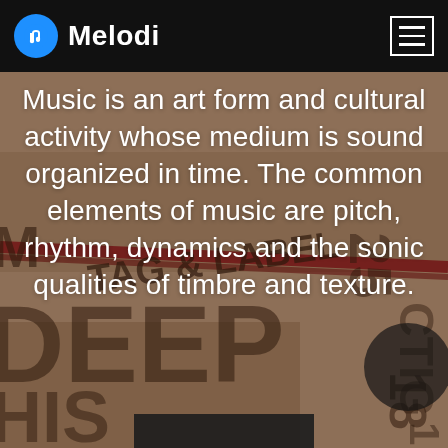Melodi
[Figure (photo): Close-up photo of vintage record label/tag with stamped lettering on brown cardboard background, showing partial text including 'TAG & LABEL', 'DEEP' and various numbers]
Music is an art form and cultural activity whose medium is sound organized in time. The common elements of music are pitch, rhythm, dynamics and the sonic qualities of timbre and texture.